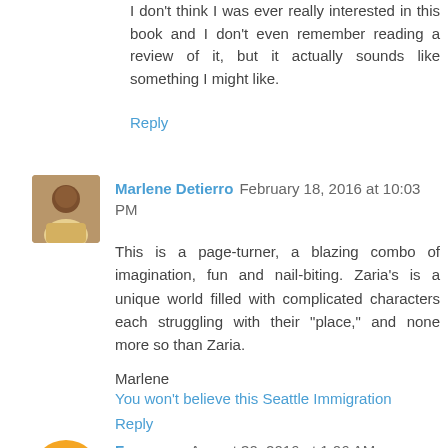I don't think I was ever really interested in this book and I don't even remember reading a review of it, but it actually sounds like something I might like.
Reply
Marlene Detierro  February 18, 2016 at 10:03 PM
This is a page-turner, a blazing combo of imagination, fun and nail-biting. Zaria's is a unique world filled with complicated characters each struggling with their "place," and none more so than Zaria.
Marlene
You won't believe this Seattle Immigration
Reply
Fangyaya  August 30, 2016 at 1:06 AM
adidas outlet
oakley sunglasses
timberland boots